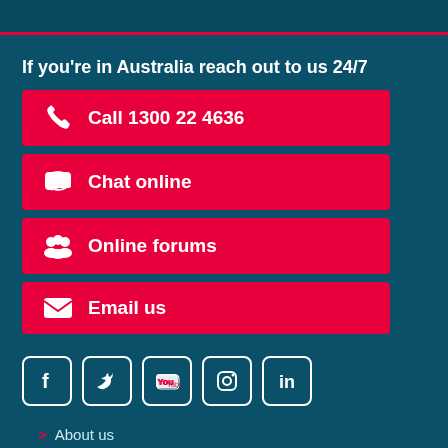If you're in Australia reach out to us 24/7
Call 1300 22 4636
Chat online
Online forums
Email us
[Figure (infographic): Social media icons: Facebook, Twitter, YouTube, Instagram, LinkedIn]
> About us
> Media